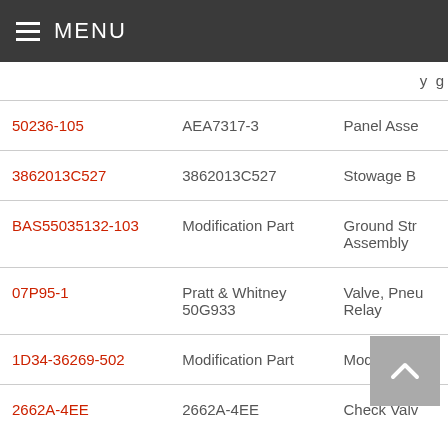MENU
y g
| Part Number | Manufacturer | Description |
| --- | --- | --- |
| 50236-105 | AEA7317-3 | Panel Asse... |
| 3862013C527 | 3862013C527 | Stowage B... |
| BAS55035132-103 | Modification Part | Ground Str... Assembly |
| 07P95-1 | Pratt & Whitney 50G933 | Valve, Pneu... Relay |
| 1D34-36269-502 | Modification Part | Mode S An... Kit... |
| 2662A-4EE | 2662A-4EE | Check Valv... |